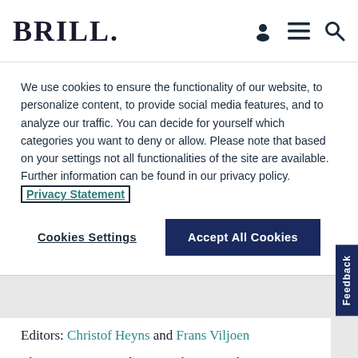BRILL
We use cookies to ensure the functionality of our website, to personalize content, to provide social media features, and to analyze our traffic. You can decide for yourself which categories you want to deny or allow. Please note that based on your settings not all functionalities of the site are available. Further information can be found in our privacy policy. Privacy Statement
Cookies Settings
Accept All Cookies
Editors: Christof Heyns and Frans Viljoen
The six main United Nations human rights treaties enjoy almost universal ratification today. Almost 80 per cent of the possible ratifications have been made, and every Member State of the UN has ratified at least one of these treaties.